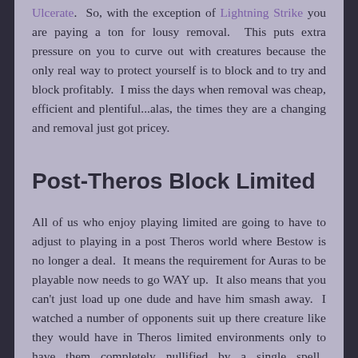Ulcerate. So, with the exception of Lightning Strike you are paying a ton for lousy removal. This puts extra pressure on you to curve out with creatures because the only real way to protect yourself is to block and to try and block profitably. I miss the days when removal was cheap, efficient and plentiful...alas, the times they are a changing and removal just got pricey.
Post-Theros Block Limited
All of us who enjoy playing limited are going to have to adjust to playing in a post Theros world where Bestow is no longer a deal. It means the requirement for Auras to be playable now needs to go WAY up. It also means that you can't just load up one dude and have him smash away. I watched a number of opponents suit up there creature like they would have in Theros limited environments only to have them completely nullified by a single spell. Remember folks, don't set yourself up for the 2 for 1 unless those auras are really good.